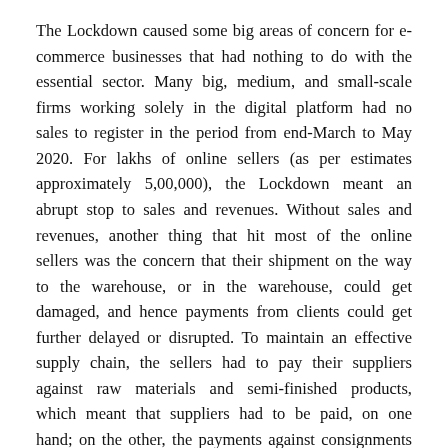The Lockdown caused some big areas of concern for e-commerce businesses that had nothing to do with the essential sector. Many big, medium, and small-scale firms working solely in the digital platform had no sales to register in the period from end-March to May 2020. For lakhs of online sellers (as per estimates approximately 5,00,000), the Lockdown meant an abrupt stop to sales and revenues. Without sales and revenues, another thing that hit most of the online sellers was the concern that their shipment on the way to the warehouse, or in the warehouse, could get damaged, and hence payments from clients could get further delayed or disrupted. To maintain an effective supply chain, the sellers had to pay their suppliers against raw materials and semi-finished products, which meant that suppliers had to be paid, on one hand; on the other, the payments against consignments that were shipped just before the lockdown were still not received from the clients.
Now, as the lockdown opens, things do not look hunky-dory for these sellers. With many of the stuck shipments returned to the sellers, they are not set to recover, and